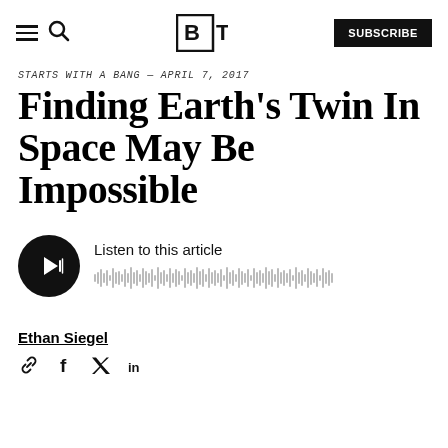BT | SUBSCRIBE
STARTS WITH A BANG — APRIL 7, 2017
Finding Earth's Twin In Space May Be Impossible
[Figure (other): Audio player widget with circular dark play button featuring triangular play icon with sound wave lines, text 'Listen to this article', and audio waveform visualization bar]
Ethan Siegel
[Figure (other): Share icons: link, facebook, twitter, linkedin]